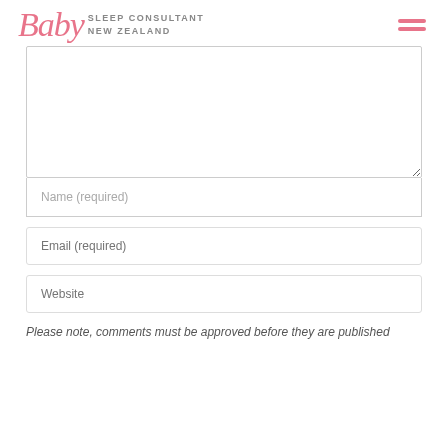Baby SLEEP CONSULTANT NEW ZEALAND
Name (required)
Email (required)
Website
Please note, comments must be approved before they are published